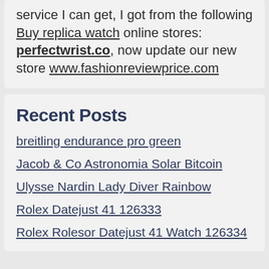service I can get, I got from the following Buy replica watch online stores: perfectwrist.co, now update our new store www.fashionreviewprice.com
Recent Posts
breitling endurance pro green
Jacob & Co Astronomia Solar Bitcoin
Ulysse Nardin Lady Diver Rainbow
Rolex Datejust 41 126333
Rolex Rolesor Datejust 41 Watch 126334